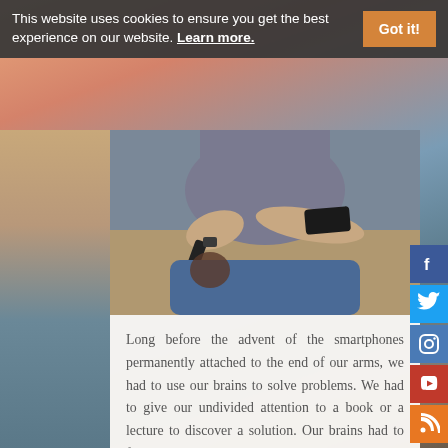This website uses cookies to ensure you get the best experience on our website. Learn more.
Got it!
[Figure (photo): Person sitting on a couch holding a TV remote and a smartphone, wearing jeans and a grey t-shirt]
Long before the advent of the smartphones permanently attached to the end of our arms, we had to use our brains to solve problems. We had to give our undivided attention to a book or a lecture to discover a solution. Our brains had to function!
We'd be forced to identify and extract the underlying principle behind examples obtained from real life experiences, textbooks or teachers